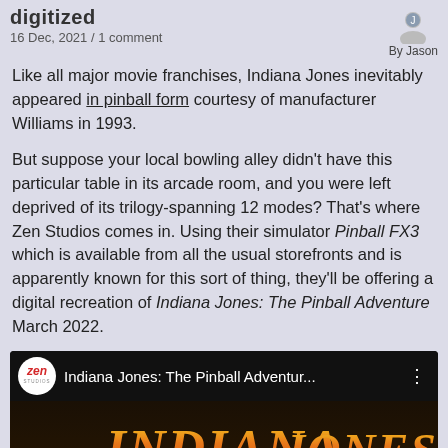digitized
16 Dec, 2021 / 1 comment
Like all major movie franchises, Indiana Jones inevitably appeared in pinball form courtesy of manufacturer Williams in 1993.
But suppose your local bowling alley didn't have this particular table in its arcade room, and you were left deprived of its trilogy-spanning 12 modes? That's where Zen Studios comes in. Using their simulator Pinball FX3 which is available from all the usual storefronts and is apparently known for this sort of thing, they'll be offering a digital recreation of Indiana Jones: The Pinball Adventure March 2022.
[Figure (screenshot): YouTube video thumbnail showing 'Indiana Jones: The Pinball Adventur...' with Zen Studios logo and Indiana Jones game art with text 'INDIANA JONES the PINBALL ADVENTURE']